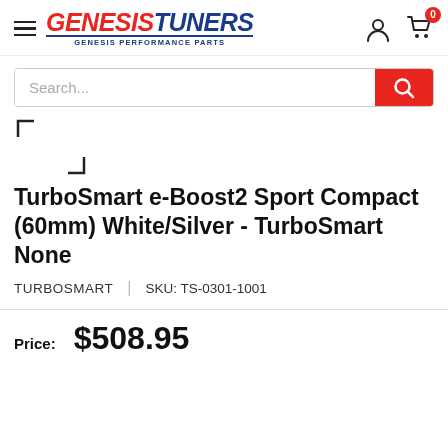GENESIS TUNERS — GENESIS PERFORMANCE PARTS
[Figure (screenshot): Search bar with red search button]
[Figure (other): Product image placeholder (empty box outline)]
TurboSmart e-Boost2 Sport Compact (60mm) White/Silver - TurboSmart None
TURBOSMART  |  SKU: TS-0301-1001
Price:  $508.95